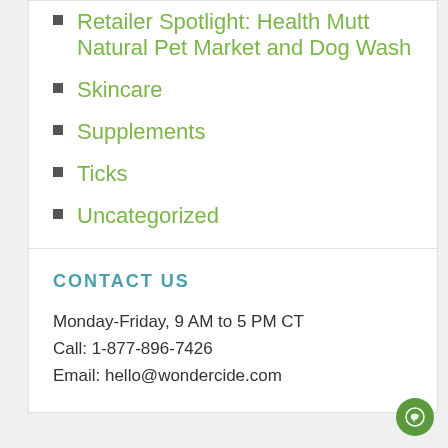Retailer Spotlight: Health Mutt Natural Pet Market and Dog Wash
Skincare
Supplements
Ticks
Uncategorized
Wondercide
CONTACT US
Monday-Friday, 9 AM to 5 PM CT
Call: 1-877-896-7426
Email: hello@wondercide.com